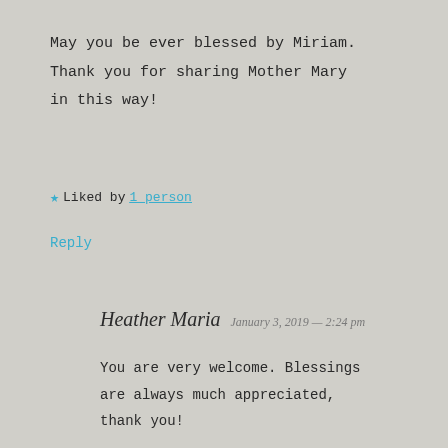May you be ever blessed by Miriam. Thank you for sharing Mother Mary in this way!
★ Liked by 1 person
Reply
Heather Maria  January 3, 2019 — 2:24 pm
You are very welcome. Blessings are always much appreciated, thank you!